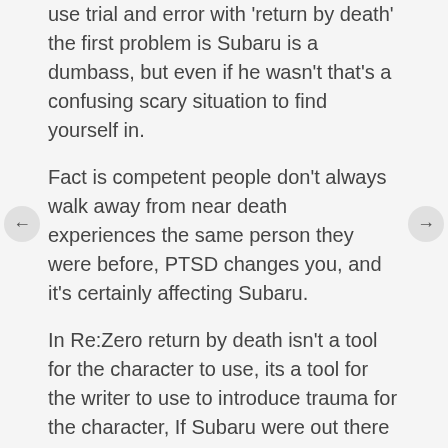use trial and error with 'return by death' the first problem is Subaru is a dumbass, but even if he wasn't that's a confusing scary situation to find yourself in.
Fact is competent people don't always walk away from near death experiences the same person they were before, PTSD changes you, and it's certainly affecting Subaru.
In Re:Zero return by death isn't a tool for the character to use, its a tool for the writer to use to introduce trauma for the character, If Subaru were out there figuring things out right away and being systematic with his use of return by death I don't think the show would be near as interesting. The show is more interesting as a character study of this guys many many flaws.